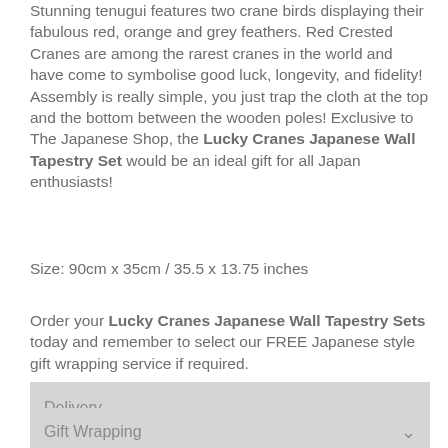Stunning tenugui features two crane birds displaying their fabulous red, orange and grey feathers. Red Crested Cranes are among the rarest cranes in the world and have come to symbolise good luck, longevity, and fidelity! Assembly is really simple, you just trap the cloth at the top and the bottom between the wooden poles! Exclusive to The Japanese Shop, the Lucky Cranes Japanese Wall Tapestry Set would be an ideal gift for all Japan enthusiasts!
Size: 90cm x 35cm / 35.5 x 13.75 inches
Order your Lucky Cranes Japanese Wall Tapestry Sets today and remember to select our FREE Japanese style gift wrapping service if required.
Delivery
Returns
Gift Wrapping